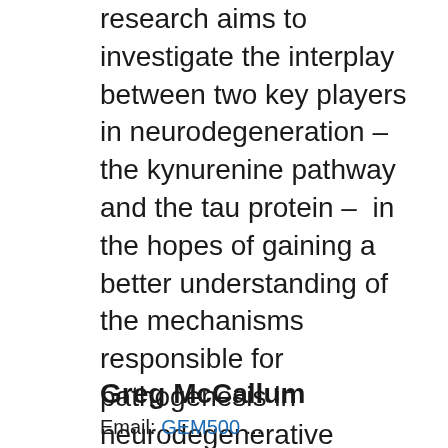research aims to investigate the interplay between two key players in neurodegeneration – the kynurenine pathway and the tau protein –  in the hopes of gaining a better understanding of the mechanisms responsible for pathogenesis in neurodegenerative disorders such as Alzheimer's and Parkinson's. By doing so we hope to identify potential therapeutic targets and improve the scope of treatments for these devastating conditions, which at the moment are very limited.
Greg McCallum
Email: GEM500 ...